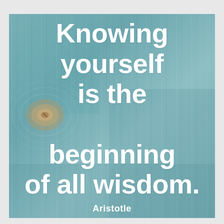[Figure (illustration): Teal/blue-green painted wood background with visible wood grain and a knot on the left side. Large bold white text overlaid reads: 'Knowing yourself is the beginning of all wisdom.' with 'Aristotle' as attribution below.]
Knowing yourself is the beginning of all wisdom.
Aristotle